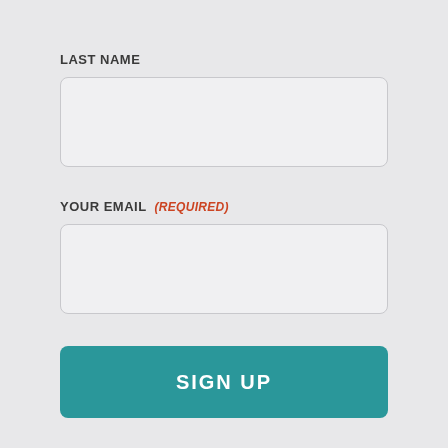LAST NAME
[Figure (other): Empty text input field for Last Name]
YOUR EMAIL (REQUIRED)
[Figure (other): Empty text input field for Email]
SIGN UP